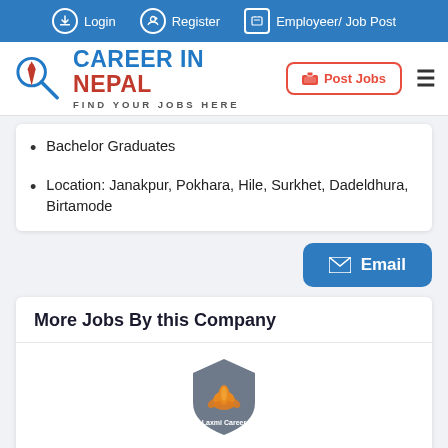Login  Register  Employeer/ Job Post
[Figure (logo): Career in Nepal logo with magnifying glass and tie icon, red and blue colors]
Bachelor Graduates
Location: Janakpur, Pokhara, Hile, Surkhet, Dadeldhura, Birtamode
[Figure (other): Email button, blue rounded rectangle with envelope icon]
More Jobs By this Company
[Figure (logo): Laxmi Career company logo - grey shield shape with orange lotus flower]
Assistant Brand Manager
Laxmi Group